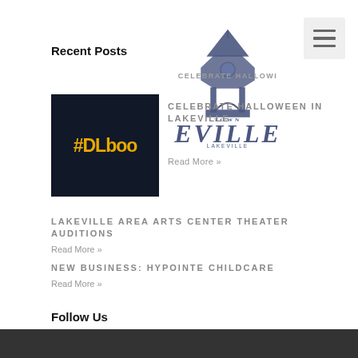Recent Posts
[Figure (logo): Lakeville town logo with gazebo illustration and cursive/serif text reading LAKEVILLE]
[Figure (photo): Dark thumbnail image with yellow bold text '#DLboo']
CELEBRATE HALLOWEEN IN LAKEVILLE
Read More »
LAKEVILLE AREA ARTS CENTER THEATER AUDITIONS
Read More »
NEW BUSINESS: HYPOINTE CHILDCARE
Read More »
Follow Us